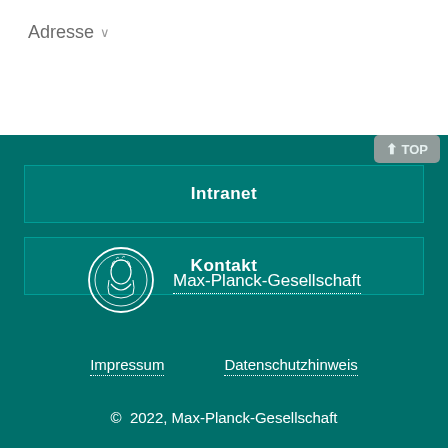Adresse ∨
⬆ TOP
Intranet
Kontakt
[Figure (logo): Max-Planck-Gesellschaft coin/medallion logo in white outline on teal background]
Max-Planck-Gesellschaft
Impressum
Datenschutzhinweis
© 2022, Max-Planck-Gesellschaft